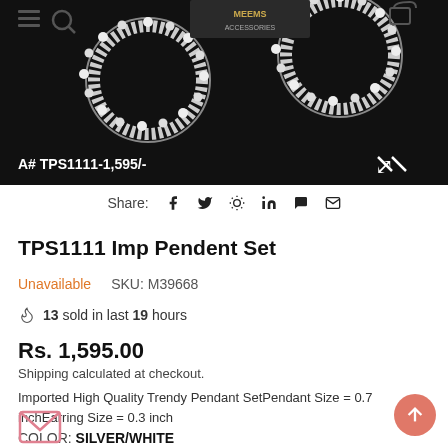[Figure (photo): Product photo of silver/white rhinestone pendant set on dark background with text overlay 'A# TPS1111-1,595/-']
Share:  f  🐦  pinterest  in  whatsapp  ✉
TPS1111 Imp Pendent Set
Unavailable   SKU: M39668
🔥 13 sold in last 19 hours
Rs. 1,595.00
Shipping calculated at checkout.
Imported High Quality Trendy Pendant SetPendant Size = 0.7 inchEarring Size = 0.3 inch
COLOR: SILVER/WHITE